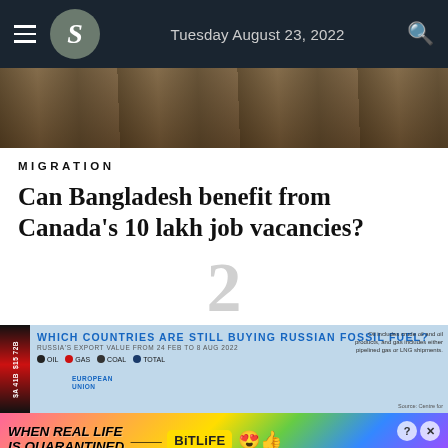S — Tuesday August 23, 2022
[Figure (photo): Photo strip showing people working, cropped at top — partial view of workers on a floor]
MIGRATION
Can Bangladesh benefit from Canada's 10 lakh job vacancies?
2
[Figure (infographic): Advertisement infographic: WHICH COUNTRIES ARE STILL BUYING RUSSIAN FOSSIL FUEL? Russia's export value from 24 Feb to 8 Aug 2022. Legend: Oil, Gas, Coal, Total. Note: Oil includes crude oil and oil products, and gas includes either pipelined gas or LNG shipments. Source: Centre for Research on Energy and Clean Air. Shows European Union label.]
[Figure (other): BitLife advertisement banner: WHEN REAL LIFE IS QUARANTINED — BitLife app ad with rainbow background and emoji characters]